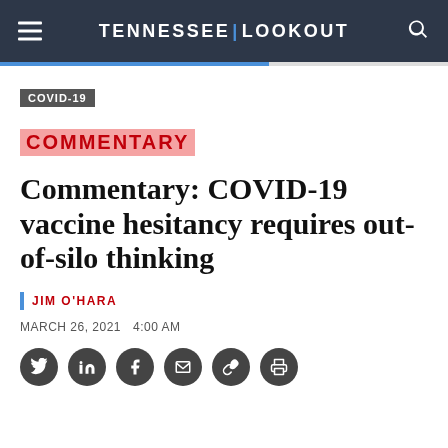TENNESSEE LOOKOUT
COVID-19
COMMENTARY
Commentary: COVID-19 vaccine hesitancy requires out-of-silo thinking
JIM O'HARA
MARCH 26, 2021   4:00 AM